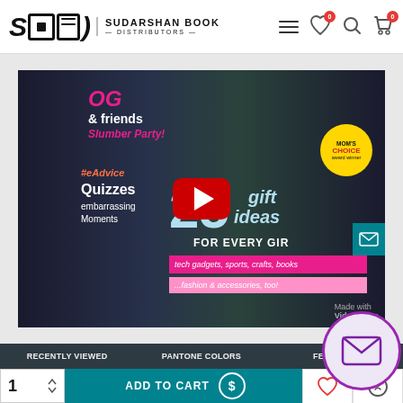Sudarshan Book Distributors
[Figure (screenshot): YouTube-style video player showing a magazine cover with girls, text reading 'friends Slumber Party!', '25 gift ideas FOR EVERY GIRL', 'Quizzes', 'tech gadgets, sports, crafts, books', 'fashion & accessories, too!', 'Made with VideoShow', MOM'S CHOICE award badge, with a red YouTube play button overlay. Video player embedded in a book/magazine ecommerce product page.]
RECENTLY VIEWED
PANTONE COLORS
FEATURED